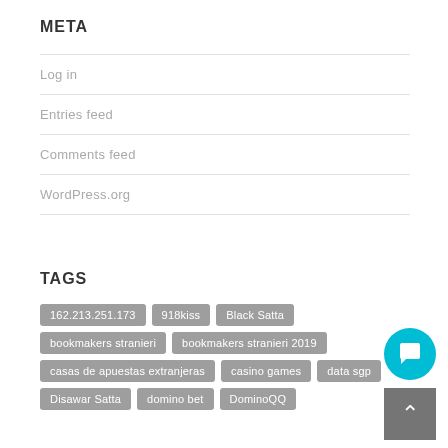META
Log in
Entries feed
Comments feed
WordPress.org
TAGS
162.213.251.173
918kiss
Black Satta
bookmakers stranieri
bookmakers stranieri 2019
casas de apuestas extranjeras
casino games
data sgp
Disawar Satta
domino bet
DominoQQ